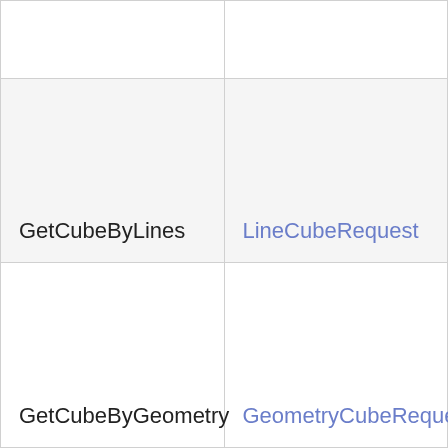| Method | Request Type |
| --- | --- |
|  |  |
| GetCubeByLines | LineCubeRequest |
| GetCubeByGeometry | GeometryCubeRequest |